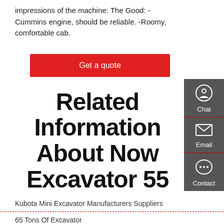impressions of the machine: The Good: -Cummins engine, should be reliable. -Roomy, comfortable cab.
Get a quote
Related Information About Now Excavator 55
[Figure (other): Sidebar with Chat, Email, and Contact icons on dark grey background]
Kubota Mini Excavator Manufacturers Suppliers
65 Tons Of Excavator